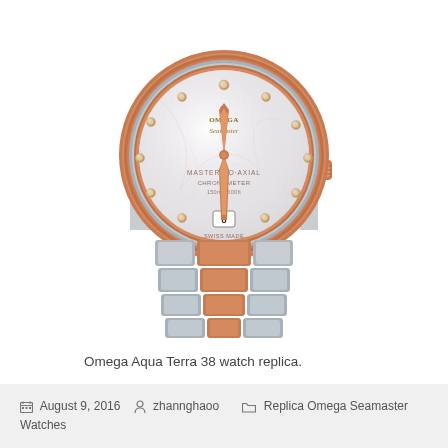[Figure (photo): Omega Seamaster Aqua Terra 38 watch with rose gold and stainless steel two-tone bracelet, mother-of-pearl dial with diamond hour markers, rose gold hands and bezel, date window at 6 o'clock. The watch is displayed against a white background showing the lower half of the case and the bracelet.]
Omega Aqua Terra 38 watch replica.
August 9, 2016   zhannghaoo   Replica Omega Seamaster Watches